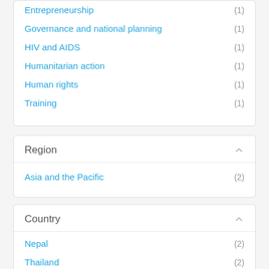Entrepreneurship (1)
Governance and national planning (1)
HIV and AIDS (1)
Humanitarian action (1)
Human rights (1)
Training (1)
Region
Asia and the Pacific (2)
Country
Nepal (2)
Thailand (2)
Viet Nam (2)
Afghanistan (1)